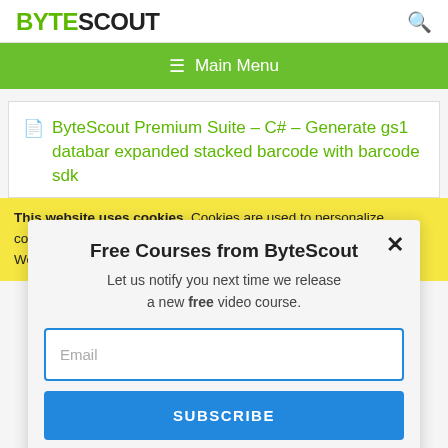BYTESCOUT
≡  Main Menu
ByteScout Premium Suite – C# – Generate gs1 databar expanded stacked barcode with barcode sdk
This website uses cookies. Cookies are used to personalize content, analyze traffic, provide social media features, display ads. We also share
Free Courses from ByteScout
Let us notify you next time we release a new free video course.
Email
SUBSCRIBE